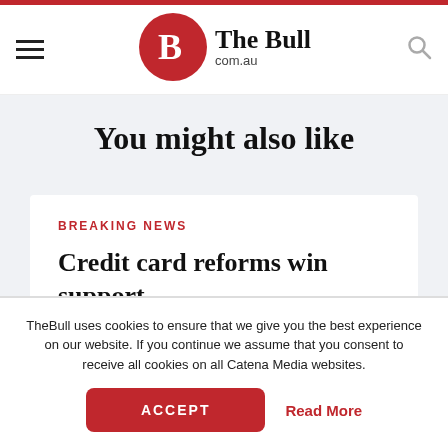The Bull com.au
You might also like
BREAKING NEWS
Credit card reforms win support
New credit card laws introduced by the corporate
TheBull uses cookies to ensure that we give you the best experience on our website. If you continue we assume that you consent to receive all cookies on all Catena Media websites.